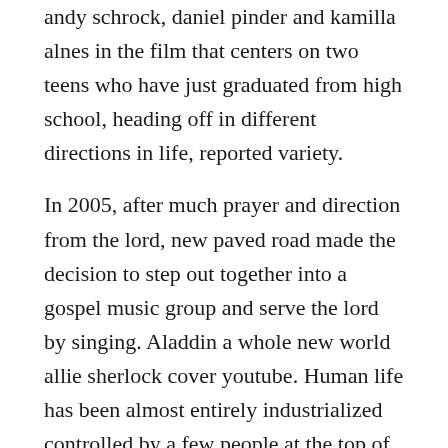andy schrock, daniel pinder and kamilla alnes in the film that centers on two teens who have just graduated from high school, heading off in different directions in life, reported variety.

In 2005, after much prayer and direction from the lord, new paved road made the decision to step out together into a gospel music group and serve the lord by singing. Aladdin a whole new world allie sherlock cover youtube. Human life has been almost entirely industrialized controlled by a few people at the top of a world. Before they can embark on their journey, they meet both their long-lost